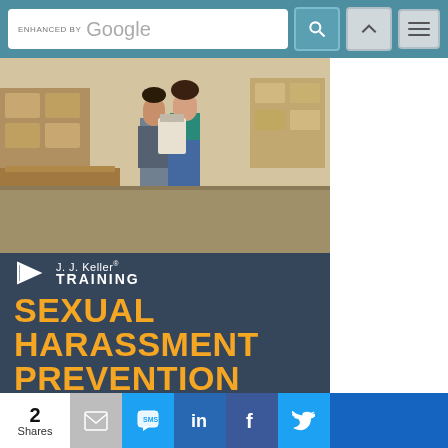[Figure (screenshot): Website page header with Google search bar (ENHANCED BY Google text), search icon button, navigation up arrow button, and hamburger menu button on a teal/steel blue background.]
[Figure (photo): Warehouse scene showing two people reviewing a document or clipboard, with shelving and boxes in the background.]
[Figure (logo): J. J. Keller Training logo with white triangle play-button icon, 'J. J. Keller' text and 'TRAINING' in bold white letters on dark navy background.]
SEXUAL HARASSMENT PREVENTION Online Training
[Figure (infographic): Social share bar showing '2 Shares', with share buttons for Email (gray), SMS (blue), LinkedIn (dark blue), Facebook (blue), Twitter (light blue), and a crown/Mailer Lite button (dark blue).]